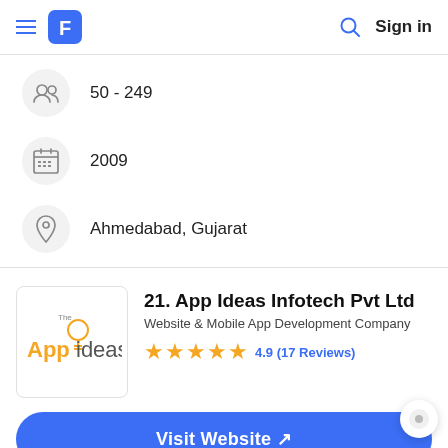Hamburger menu | Logo | Search | Sign in
50 - 249
2009
Ahmedabad, Gujarat
21. App Ideas Infotech Pvt Ltd
Website & Mobile App Development Company
4.9 (17 Reviews)
Visit Website ↗